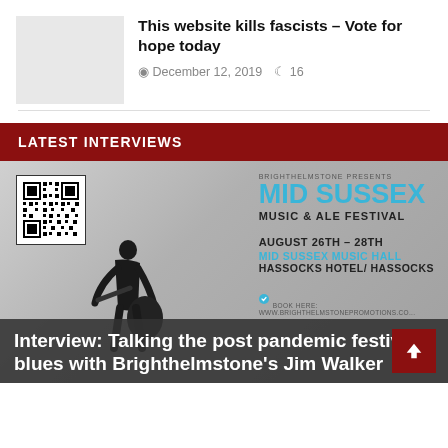This website kills fascists – Vote for hope today
December 12, 2019   16
LATEST INTERVIEWS
[Figure (photo): Festival poster for Mid Sussex Music & Ale Festival, August 26th-28th, Mid Sussex Music Hall, Hassocks Hotel/Hassocks. Shows a guitarist silhouette against a grey background with QR code.]
Interview: Talking the post pandemic festival blues with Brighthelmstone's Jim Walker